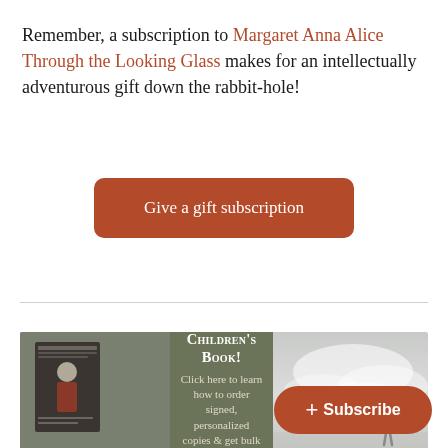Remember, a subscription to Margaret Anna Alice Through the Looking Glass makes for an intellectually adventurous gift down the rabbit-hole!
[Figure (other): A rounded dark red/brown button with white text reading 'Give a gift subscription']
[Figure (infographic): A banner advertisement with three sections: left shows a book cover image, center on olive/dark green background reads 'Now a Children's Book! Click here to learn how to order signed, personalized copies & get bulk discounts on the paperback.', right shows a misty sky scene with a small figure painting clouds.]
[Figure (other): A rounded red/brown subscribe button with a plus sign and the word 'Subscribe' in white bold text, positioned at the bottom right.]